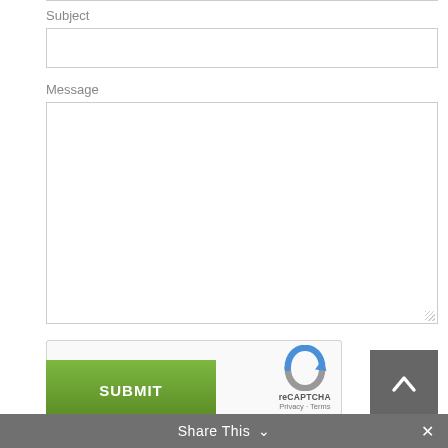Subject
[Figure (screenshot): Empty subject input field]
Message
[Figure (screenshot): Empty message textarea]
ERROR for site owner: Invalid site key
[Figure (logo): reCAPTCHA logo with Privacy and Terms links]
SUBMIT
Share This